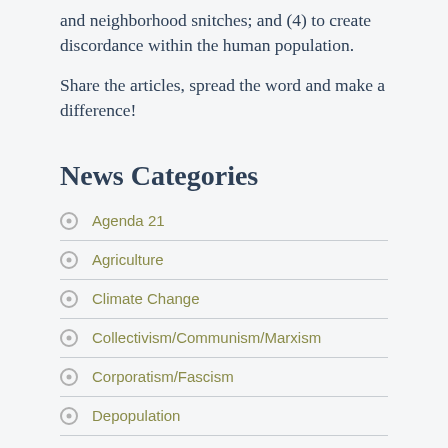and neighborhood snitches; and (4) to create discordance within the human population.
Share the articles, spread the word and make a difference!
News Categories
Agenda 21
Agriculture
Climate Change
Collectivism/Communism/Marxism
Corporatism/Fascism
Depopulation